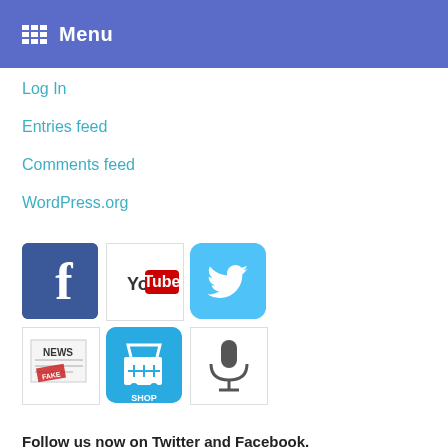Menu
Log In
Entries feed
Comments feed
WordPress.org
[Figure (infographic): Social media icons grid: Facebook, YouTube, Twitter (top row), News, Shop, Microphone (bottom row)]
Follow us now on Twitter and Facebook.